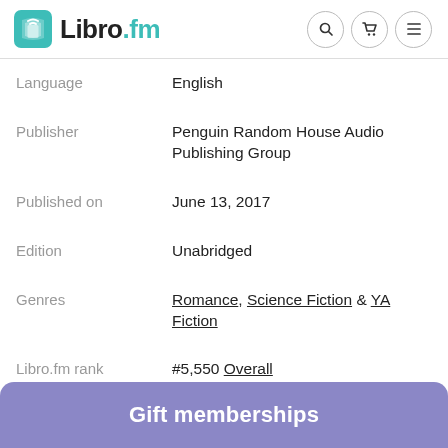Libro.fm
| Field | Value |
| --- | --- |
| Language | English |
| Publisher | Penguin Random House Audio Publishing Group |
| Published on | June 13, 2017 |
| Edition | Unabridged |
| Genres | Romance, Science Fiction & YA Fiction |
| Libro.fm rank | #5,550 Overall |
| Genre rank | #279 in Science Fiction |
Gift memberships